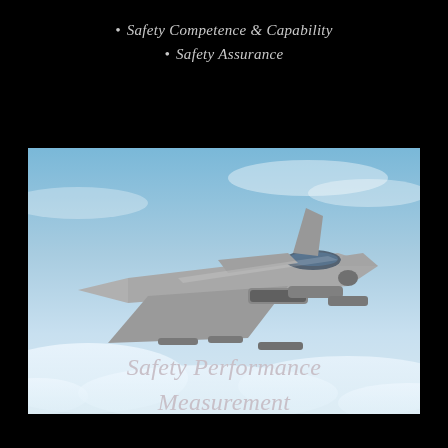Safety Competence & Capability
Safety Assurance
[Figure (photo): Military fighter jet (Eurofighter Typhoon) loaded with weapons/missiles, flying at high altitude above clouds against a blue sky]
Safety Performance Measurement